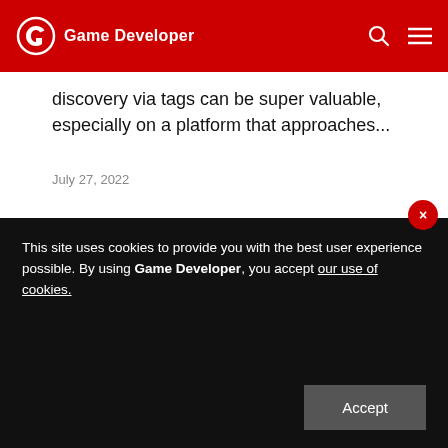Game Developer
discovery via tags can be super valuable, especially on a platform that approaches...
July 27, 2022
LATEST JOBS
[Figure (other): Job listing card with black image placeholder]
This site uses cookies to provide you with the best user experience possible. By using Game Developer, you accept our use of cookies.
Accept